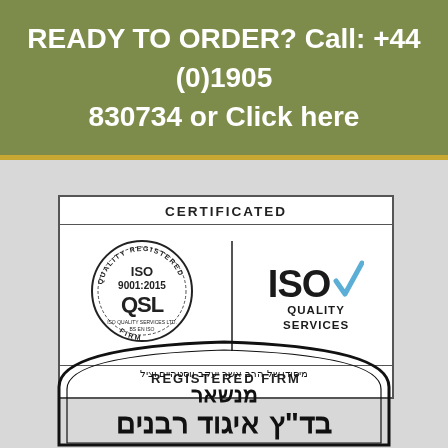READY TO ORDER? Call: +44 (0)1905 830734 or Click here
[Figure (logo): ISO 9001:2015 QSL Quality Registered Firm certificate stamp and ISO Quality Services registered firm logo in a bordered certification box]
[Figure (logo): Hebrew text Kosher certification stamp with decorative border showing rabbinical union certification (Igud Rabbanim)]